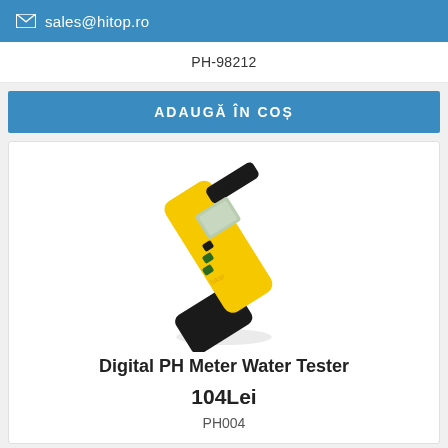sales@hitop.ro
PH-98212
ADAUGĂ ÎN COȘ
[Figure (photo): Yellow and black digital PH meter water tester pen-shaped device shown at an angle, with LCD display and buttons visible]
Digital PH Meter Water Tester
104Lei
PH004